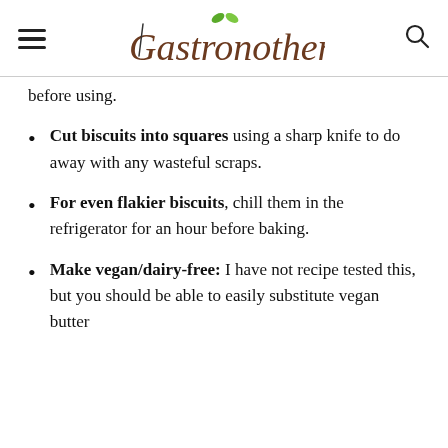Gastronotherapy
before using.
Cut biscuits into squares using a sharp knife to do away with any wasteful scraps.
For even flakier biscuits, chill them in the refrigerator for an hour before baking.
Make vegan/dairy-free: I have not recipe tested this, but you should be able to easily substitute vegan butter